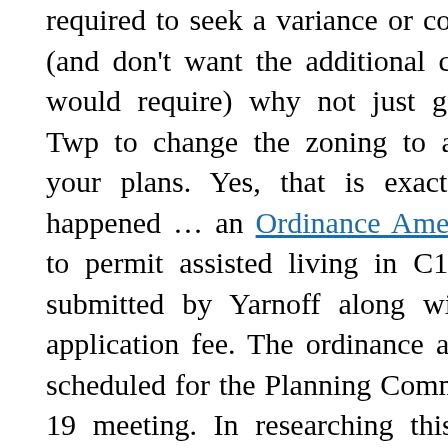required to seek a variance or conditional use (and don't want the additional cost this path would require) why not just get Tredyffrin Twp to change the zoning to accommodate your plans. Yes, that is exactly what has happened … an Ordinance Amendment draft to permit assisted living in C1 zoning was submitted by Yarnoff along with a $5,000 application fee. The ordinance amendment is scheduled for the Planning Commission's July 19 meeting. In researching this situation, I have not been able to find any other project in the township in recent years where zoning usage